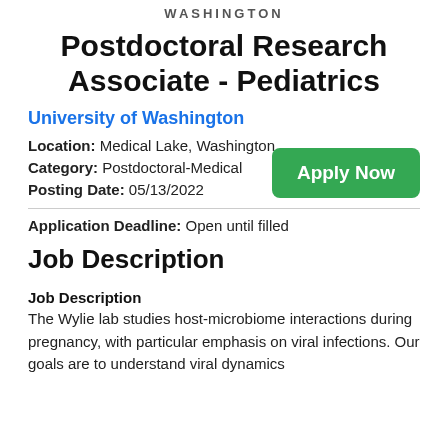WASHINGTON
Postdoctoral Research Associate - Pediatrics
University of Washington
Location: Medical Lake, Washington
Category: Postdoctoral-Medical
Posting Date: 05/13/2022
Application Deadline: Open until filled
Job Description
Job Description
The Wylie lab studies host-microbiome interactions during pregnancy, with particular emphasis on viral infections. Our goals are to understand viral dynamics